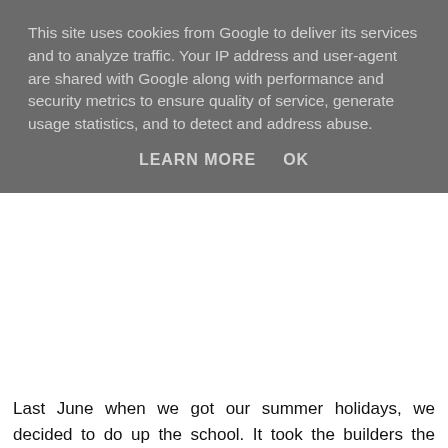This site uses cookies from Google to deliver its services and to analyze traffic. Your IP address and user-agent are shared with Google along with performance and security metrics to ensure quality of service, generate usage statistics, and to detect and address abuse.
LEARN MORE    OK
Last June when we got our summer holidays, we decided to do up the school. It took the builders the whole summer to do it. They only finished it at 8pm on the 31st of August, the day before we went back to school. I cycled to school on Wednesday morning, but I got confused coming into the school because there was fencing to make the school safer. It only took me a minute to figure out how to get in. I cycled up to the shed and parked my bike. I went inside and went into Mrs. Crowley's new classroom. It was lovely. Then I went into my own classroom. I nearly fainted!! The room was all different, new carpet, new paint! I was the first person in so I could pick a good seat. I left my bag down and went to look at the school. The bathrooms were moved to where the office was the the office was moved to where the bathrooms